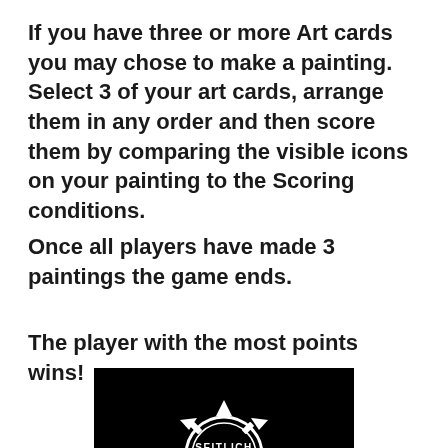If you have three or more Art cards you may chose to make a painting. Select 3 of your art cards, arrange them in any order and then score them by comparing the visible icons on your painting to the Scoring conditions.
Once all players have made 3 paintings the game ends.
The player with the most points wins!
[Figure (logo): Seitlich Games logo: white gear/circle emblem with radiating arrow shapes on black background, text SEITLICH GAMES in white inside a circle]